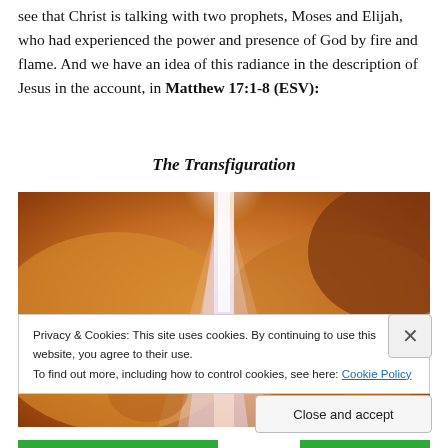see that Christ is talking with two prophets, Moses and Elijah, who had experienced the power and presence of God by fire and flame. And we have an idea of this radiance in the description of Jesus in the account, in Matthew 17:1-8 (ESV):
The Transfiguration
[Figure (photo): Painting or artistic image depicting a radiant figure with golden/orange tones and a white/light beam of radiance at center, representing the Transfiguration.]
Privacy & Cookies: This site uses cookies. By continuing to use this website, you agree to their use.
To find out more, including how to control cookies, see here: Cookie Policy
Close and accept